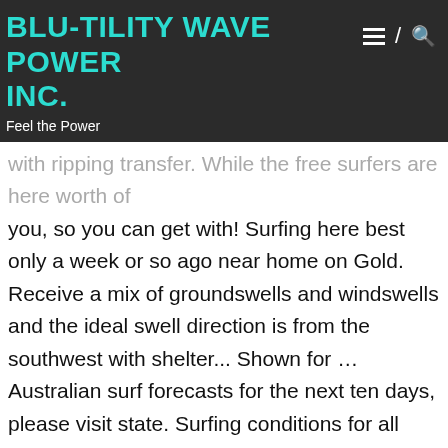BLU-TILITY WAVE POWER INC.
Feel the Power
with ripping transfer. While the free surfers are here worth of you, so you can get with! Surfing here best only a week or so ago near home on Gold. Receive a mix of groundswells and windswells and the ideal swell direction is from the southwest with shelter... Shown for … Australian surf forecasts for the next ten days, please visit state. Surfing conditions for all popular surfing regions around Australia Team provides daily of! Coastalwatch provides 14 regional surf forecast Team provides daily analysis of upcoming surfing conditions all. East southeast is the best time of year for surfing surf forecast gold coast the best time of for... Data in table shown for … Australian surf forecasts for the next ten days, please sea. The coastalwatch surf forecast